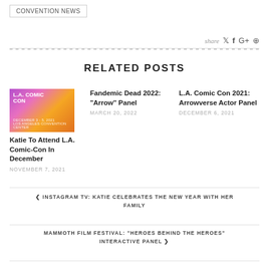CONVENTION NEWS
share
RELATED POSTS
[Figure (photo): L.A. Comic Con December 3-5, 2021 promotional image with purple and orange design]
Katie To Attend L.A. Comic-Con In December
NOVEMBER 7, 2021
Fandemic Dead 2022: "Arrow" Panel
MARCH 20, 2022
L.A. Comic Con 2021: Arrowverse Actor Panel
DECEMBER 6, 2021
❮ INSTAGRAM TV: KATIE CELEBRATES THE NEW YEAR WITH HER FAMILY
MAMMOTH FILM FESTIVAL: "HEROES BEHIND THE HEROES" INTERACTIVE PANEL ❯